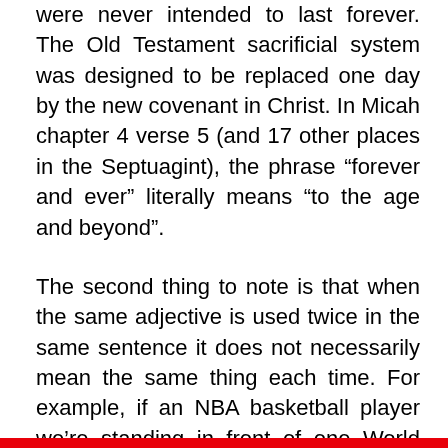were never intended to last forever. The Old Testament sacrificial system was designed to be replaced one day by the new covenant in Christ. In Micah chapter 4 verse 5 (and 17 other places in the Septuagint), the phrase “forever and ever” literally means “to the age and beyond”.
The second thing to note is that when the same adjective is used twice in the same sentence it does not necessarily mean the same thing each time. For example, if an NBA basketball player we’re standing in front of one World Trade Center in New York City, you could honestly say, “a tall man is standing in front of a tall building,” but no